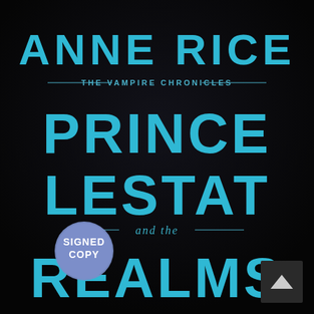[Figure (illustration): Book cover for 'Prince Lestat and the Realms' by Anne Rice, part of The Vampire Chronicles series. Dark black background with cyan/blue text. Large author name 'ANNE RICE' at top, series label 'THE VAMPIRE CHRONICLES' in smaller text with decorative lines, then large title text 'PRINCE LESTAT and the REALMS'. A blue circular badge reads 'SIGNED COPY' overlapping the lower-left. A small dark scroll-up button appears in the lower-right corner.]